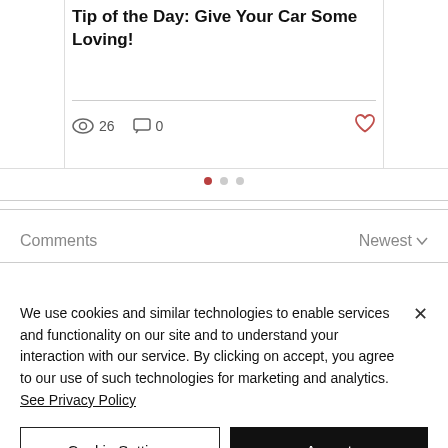Tip of the Day: Give Your Car Some Loving!
26  0
Comments   Newest
We use cookies and similar technologies to enable services and functionality on our site and to understand your interaction with our service. By clicking on accept, you agree to our use of such technologies for marketing and analytics. See Privacy Policy
Cookie Settings
Accept